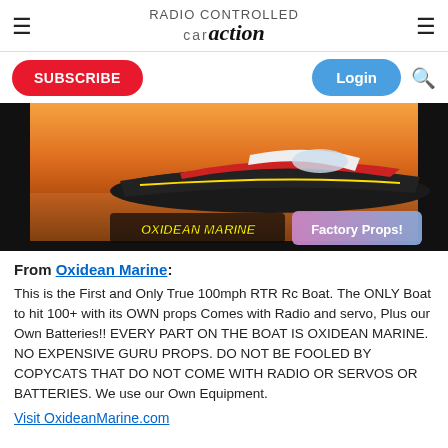car action
SUBSCRIBE | Login
[Figure (photo): RC boat (Oxidean Marine) on water at sunset with overlaid text 'OXIDEAN MARINE Factory Props!']
From Oxidean Marine: This is the First and Only True 100mph RTR Rc Boat. The ONLY Boat to hit 100+ with its OWN props Comes with Radio and servo, Plus our Own Batteries!! EVERY PART ON THE BOAT IS OXIDEAN MARINE. NO EXPENSIVE GURU PROPS. DO NOT BE FOOLED BY COPYCATS THAT DO NOT COME WITH RADIO OR SERVOS OR BATTERIES. We use our Own Equipment.
Visit OxideanMarine.com